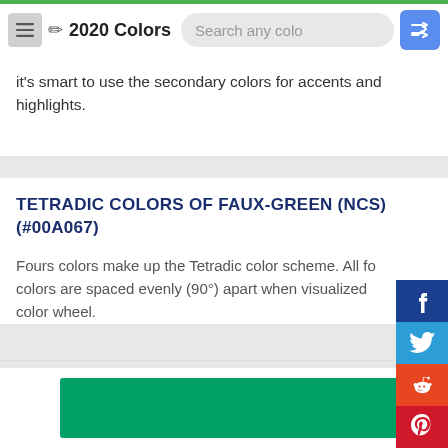2020 Colors
it's smart to use the secondary colors for accents and highlights.
TETRADIC COLORS OF FAUX-GREEN (NCS) (#00A067)
Fours colors make up the Tetradic color scheme. All fo colors are spaced evenly (90°) apart when visualized color wheel.
[Figure (other): Green color swatch for #00A067 Faux-Green (NCS)]